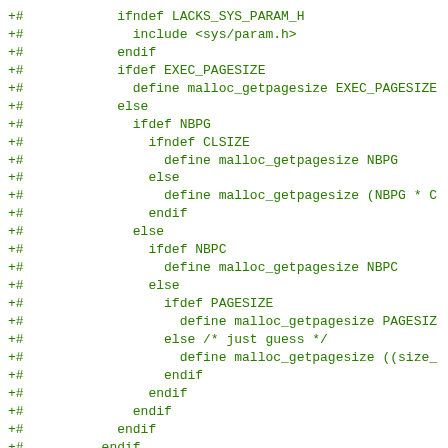+#            ifndef LACKS_SYS_PARAM_H
+#              include <sys/param.h>
+#            endif
+#            ifdef EXEC_PAGESIZE
+#              define malloc_getpagesize EXEC_PAGESIZE
+#            else
+#              ifdef NBPG
+#                ifndef CLSIZE
+#                  define malloc_getpagesize NBPG
+#                else
+#                  define malloc_getpagesize (NBPG * C
+#                endif
+#              else
+#                ifdef NBPC
+#                  define malloc_getpagesize NBPC
+#                else
+#                  ifdef PAGESIZE
+#                    define malloc_getpagesize PAGESIZ
+#                  else /* just guess */
+#                    define malloc_getpagesize ((size_
+#                  endif
+#                endif
+#              endif
+#            endif
+#          endif
+#        endif
+#  endif
+#endif
+#endif
+